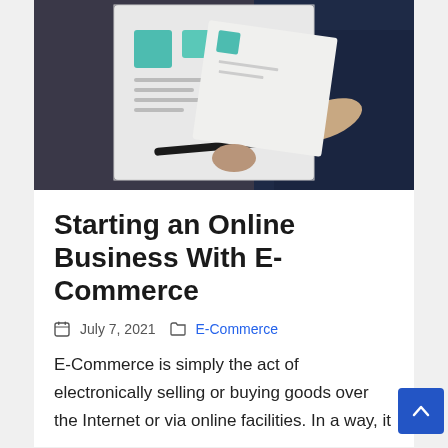[Figure (photo): Person holding printed documents or posters with colorful graphics, photographed close-up against a dark background]
Starting an Online Business With E-Commerce
July 7, 2021   E-Commerce
E-Commerce is simply the act of electronically selling or buying goods over the Internet or via online facilities. In a way, it